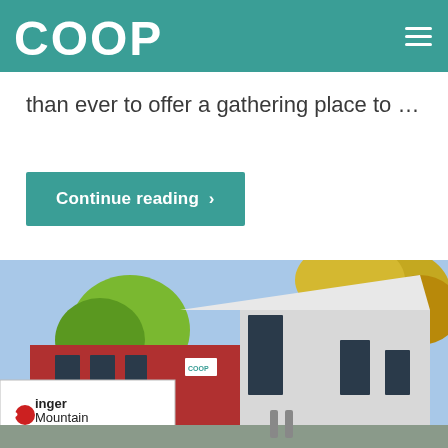COOP
than ever to offer a gathering place to …
Continue reading >
[Figure (photo): Exterior photo of Hunger Mountain Coop building — a modern red and white structure with large windows, green trees in autumn foliage, and a sign reading 'Hunger Mountain COOP' in the foreground.]